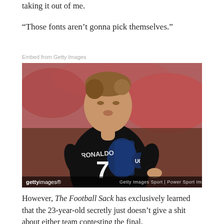taking it out of me.
“Those fonts aren’t gonna pick themselves.”
Embed from Getty Images
[Figure (photo): Soccer player wearing a black jersey with number 7 and name RONALDO, looking back over his shoulder. Getty Images Sport | Power Sport Images watermark visible.]
However, The Football Sack has exclusively learned that the 23-year-old secretly just doesn’t give a shit about either team contesting the final.